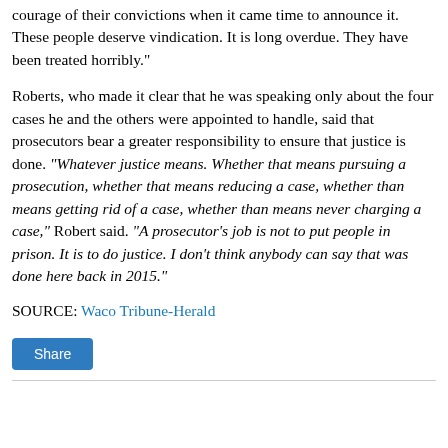courage of their convictions when it came time to announce it. These people deserve vindication. It is long overdue. They have been treated horribly."
Roberts, who made it clear that he was speaking only about the four cases he and the others were appointed to handle, said that prosecutors bear a greater responsibility to ensure that justice is done. "Whatever justice means. Whether that means pursuing a prosecution, whether that means reducing a case, whether than means getting rid of a case, whether than means never charging a case," Robert said. "A prosecutor's job is not to put people in prison. It is to do justice. I don't think anybody can say that was done here back in 2015."
SOURCE: Waco Tribune-Herald